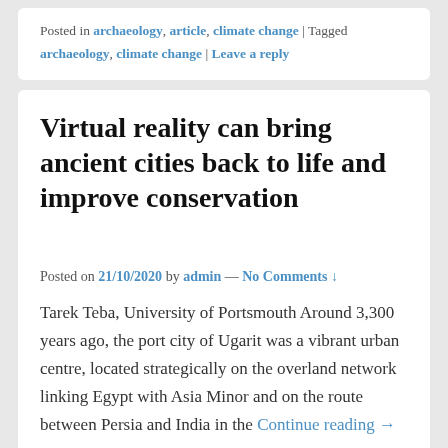Posted in archaeology, article, climate change | Tagged archaeology, climate change | Leave a reply
Virtual reality can bring ancient cities back to life and improve conservation
Posted on 21/10/2020 by admin — No Comments ↓
Tarek Teba, University of Portsmouth Around 3,300 years ago, the port city of Ugarit was a vibrant urban centre, located strategically on the overland network linking Egypt with Asia Minor and on the route between Persia and India in the Continue reading →
Posted in archaeology, article, virtual reality | Tagged archaeology, virtual reality | Leave a reply